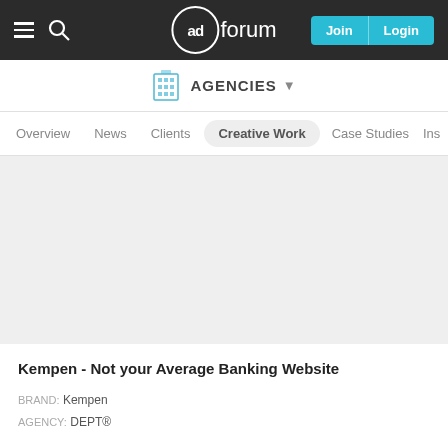adforum — Join | Login
AGENCIES
Overview | News | Clients | Creative Work | Case Studies | Ins
[Figure (photo): Gray placeholder image for Kempen creative work]
Kempen - Not your Average Banking Website
BRAND: Kempen
AGENCY: DEPT®